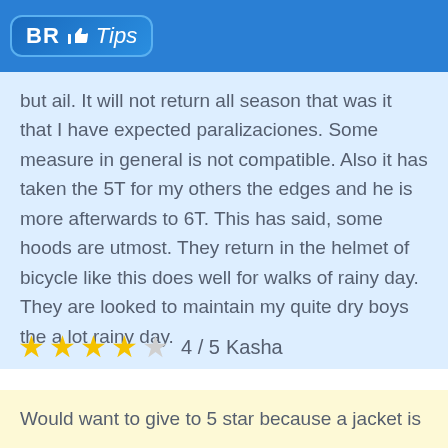[Figure (logo): BR Tips logo with thumbs up icon on blue header bar]
but ail. It will not return all season that was it that I have expected paralizaciones. Some measure in general is not compatible. Also it has taken the 5T for my others the edges and he is more afterwards to 6T. This has said, some hoods are utmost. They return in the helmet of bicycle like this does well for walks of rainy day. They are looked to maintain my quite dry boys the a lot rainy day.
4 / 5  Kasha
Would want to give to 5 star because a jacket is